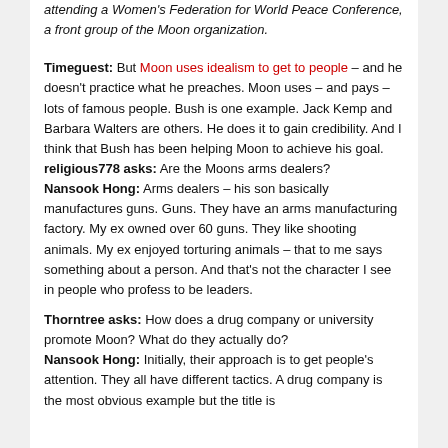attending a Women's Federation for World Peace Conference, a front group of the Moon organization.
Timeguest: But Moon uses idealism to get to people – and he doesn't practice what he preaches. Moon uses – and pays – lots of famous people. Bush is one example. Jack Kemp and Barbara Walters are others. He does it to gain credibility. And I think that Bush has been helping Moon to achieve his goal.
religious778 asks: Are the Moons arms dealers?
Nansook Hong: Arms dealers – his son basically manufactures guns. Guns. They have an arms manufacturing factory. My ex owned over 60 guns. They like shooting animals. My ex enjoyed torturing animals – that to me says something about a person. And that's not the character I see in people who profess to be leaders.
Thorntree asks: How does a drug company or university promote Moon? What do they actually do?
Nansook Hong: Initially, their approach is to get people's attention. They all have different tactics. A drug company is the most obvious example but the title is...